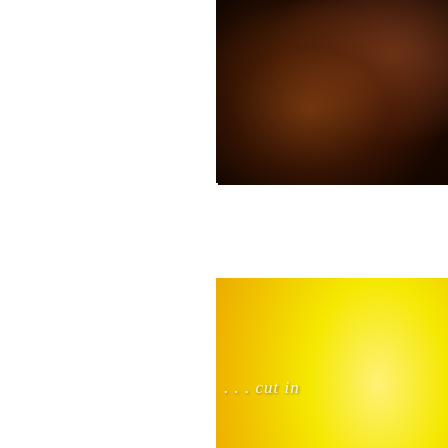[Figure (photo): Close-up photo of dark dried mushrooms or star anise spices on a wooden surface, top-right of page]
[Figure (photo): Yellow bowl containing cut mango pieces, with text overlay reading '... cut in' in white italic, middle-right of page]
[Figure (photo): Close-up of a metal grater or similar kitchen utensil, bottom-right of page, partially visible]